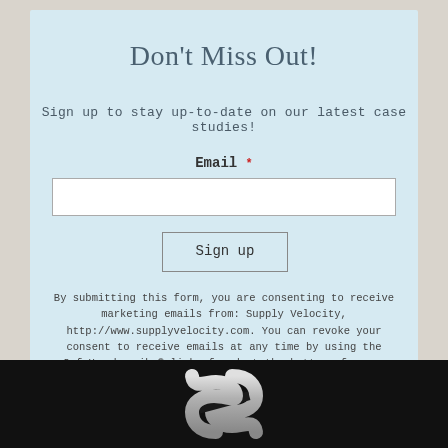Don't Miss Out!
Sign up to stay up-to-date on our latest case studies!
Email *
[Figure (other): Email input text field, empty, white background with grey border]
Sign up
By submitting this form, you are consenting to receive marketing emails from: Supply Velocity, http://www.supplyvelocity.com. You can revoke your consent to receive emails at any time by using the SafeUnsubscribe® link, found at the bottom of every email. Emails are serviced by Constant Contact
[Figure (logo): Supply Velocity logo - stylized S shape in silver/grey on black background]